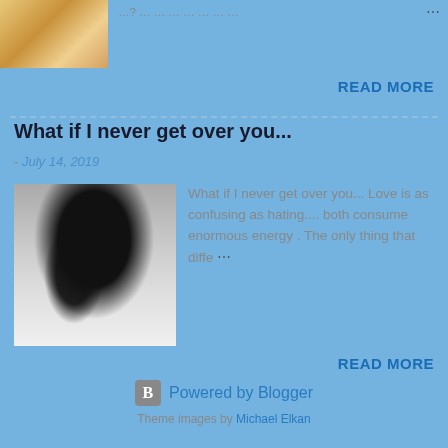[Figure (photo): Small thumbnail photo at top left, appears to show a person's hand or skin tone]
...? ... ... ... ... ... ... ... ...
READ MORE
What if I never get over you...
- July 14, 2019
[Figure (photo): Black and white photo of a woman with her hair blowing in the wind]
What if I never get over you... Love is as confusing as hating.... both consume enormous energy . The only thing that diffe ...
READ MORE
Powered by Blogger
Theme images by Michael Elkan